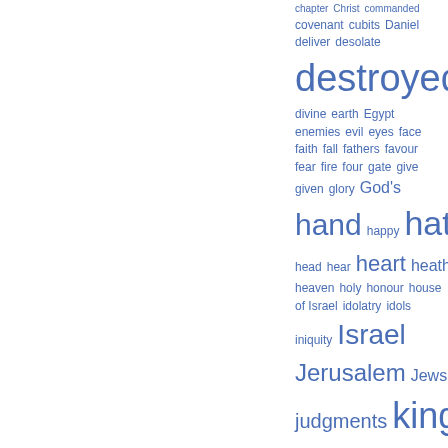[Figure (other): Word cloud in blue showing Bible-related terms with varying font sizes indicating frequency. Words include: chapter, Christ, commanded, covenant, cubits, Daniel, deliver, desolate, destroyed, destruction, divine, earth, Egypt, enemies, evil, eyes, face, faith, fall, fathers, favour, fear, fire, four, gate, give, given, glory, God's, hand, happy, hath, head, hear, heart, heathen, heaven, holy, honour, house of Israel, idolatry, idols, iniquity, Israel, Jerusalem, Jews, Judah, judgments, king, kingdom, land, live, Lord GOD, LORD of]